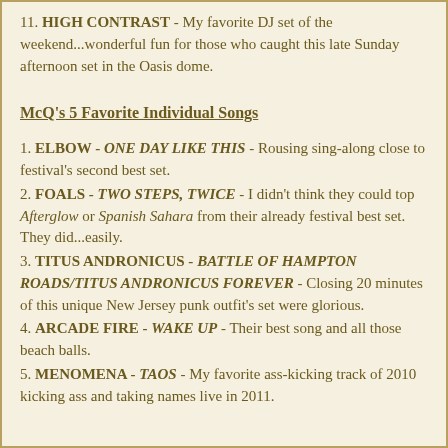11. HIGH CONTRAST - My favorite DJ set of the weekend...wonderful fun for those who caught this late Sunday afternoon set in the Oasis dome.
McQ's 5 Favorite Individual Songs
1. ELBOW - ONE DAY LIKE THIS - Rousing sing-along close to festival's second best set.
2. FOALS - TWO STEPS, TWICE - I didn't think they could top Afterglow or Spanish Sahara from their already festival best set. They did...easily.
3. TITUS ANDRONICUS - BATTLE OF HAMPTON ROADS/TITUS ANDRONICUS FOREVER - Closing 20 minutes of this unique New Jersey punk outfit's set were glorious.
4. ARCADE FIRE - WAKE UP - Their best song and all those beach balls.
5. MENOMENA - TAOS - My favorite ass-kicking track of 2010 kicking ass and taking names live in 2011.